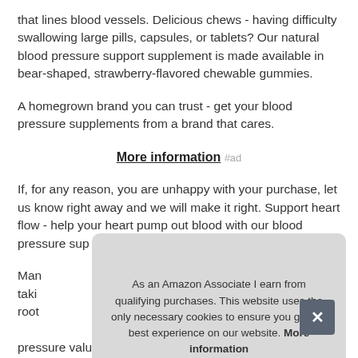that lines blood vessels. Delicious chews - having difficulty swallowing large pills, capsules, or tablets? Our natural blood pressure support supplement is made available in bear-shaped, strawberry-flavored chewable gummies.
A homegrown brand you can trust - get your blood pressure supplements from a brand that cares.
More information #ad
If, for any reason, you are unhappy with your purchase, let us know right away and we will make it right. Support heart flow - help your heart pump out blood with our blood pressure sup
Man taki root pressure values. Give your immunity a boost - our blood
As an Amazon Associate I earn from qualifying purchases. This website uses the only necessary cookies to ensure you get the best experience on our website. More information